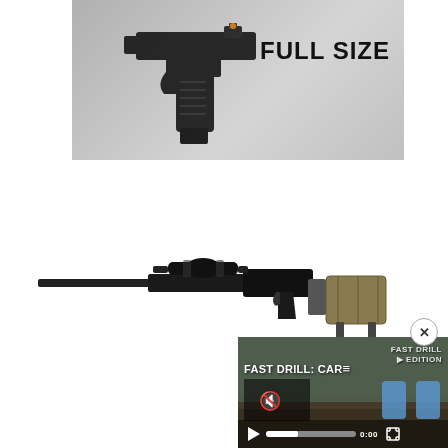[Figure (photo): Full-size pistol with red dot sight on gray background with text FULL SIZE in bold black letters]
[Figure (photo): Bolt-action precision rifle with scope and rear bag on white background]
[Figure (screenshot): Video thumbnail showing FAST DRILL: CAR text overlay, mute icon, play button, target silhouettes, and 0:00 timestamp]